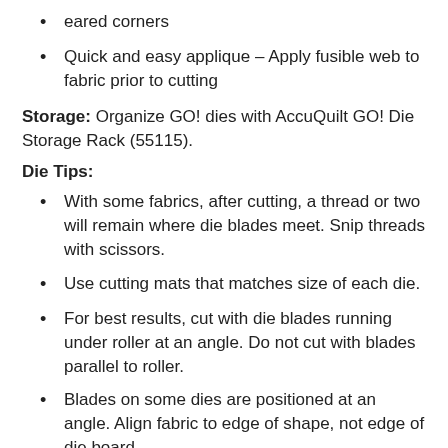eared corners
Quick and easy applique – Apply fusible web to fabric prior to cutting
Storage:  Organize GO! dies with AccuQuilt GO! Die Storage Rack (55115).
Die Tips:
With some fabrics, after cutting, a thread or two will remain where die blades meet. Snip threads with scissors.
Use cutting mats that matches size of each die.
For best results, cut with die blades running under roller at an angle. Do not cut with blades parallel to roller.
Blades on some dies are positioned at an angle. Align fabric to edge of shape, not edge of die board.
Some dies feature specially designed corners to aid in alignment and pre-cutting.